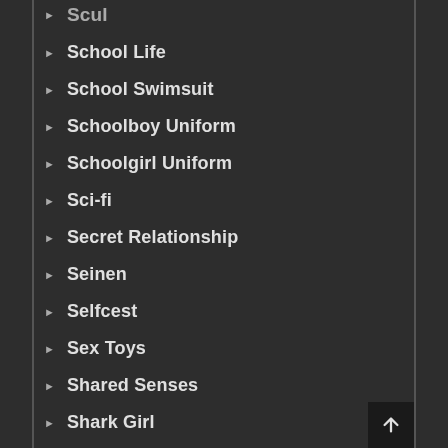Scul
School Life
School Swimsuit
Schoolboy Uniform
Schoolgirl Uniform
Sci-fi
Secret Relationship
Seinen
Selfcest
Sex Toys
Shared Senses
Shark Girl
Shaved Head
Sharo Girl